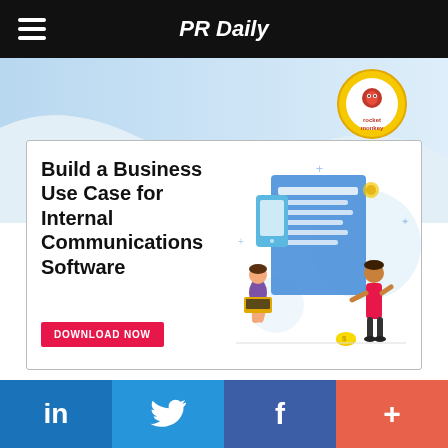PR Daily
[Figure (illustration): Advertisement banner for 'Build a Business Use Case for Internal Communications Software' with blue wave background, a circular logo (rocket monkey), illustrated people working with documents, and a pink Download Now button]
LinkedIn | Twitter | Facebook | More (+)